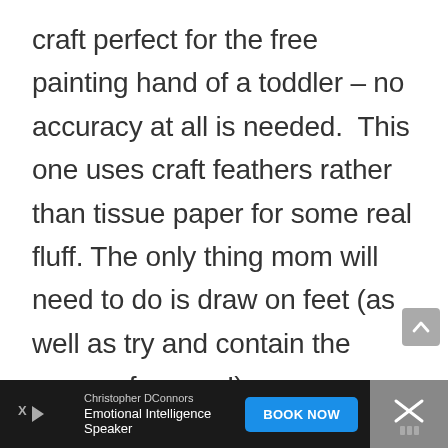craft perfect for the free painting hand of a toddler – no accuracy at all is needed.  This one uses craft feathers rather than tissue paper for some real fluff. The only thing mom will need to do is draw on feet (as well as try and contain the mess, of course!)
[Figure (other): Scroll-to-top button (grey rounded square with upward chevron arrow)]
[Figure (other): Advertisement bar at bottom: Christopher DConnors – Emotional Intelligence Speaker – BOOK NOW button – close button with X icon and three vertical bars icon]